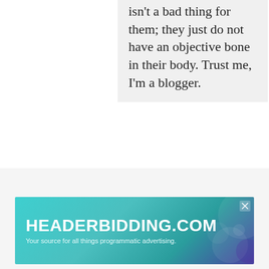isn't a bad thing for them; they just do not have an objective bone in their body. Trust me, I'm a blogger.
Somewhat related: That Kim Kardashian meeting with Trump didn't go so well. (The Slot)
[Figure (other): Advertisement banner for HEADERBIDDING.COM with text 'Your source for all things programmatic advertising.' on a teal/cyan gradient background with decorative circles.]